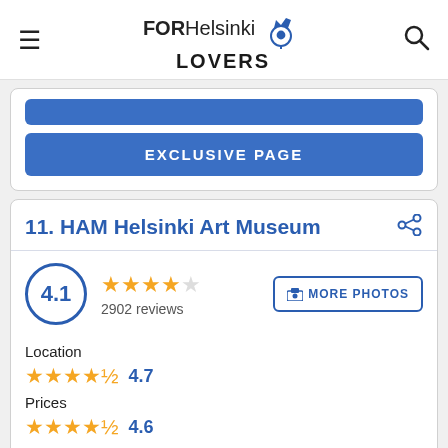FOR Helsinki LOVERS
EXCLUSIVE PAGE
11. HAM Helsinki Art Museum
4.1 — 2902 reviews
Location 4.7
Prices 4.6
Product Quality 4.6